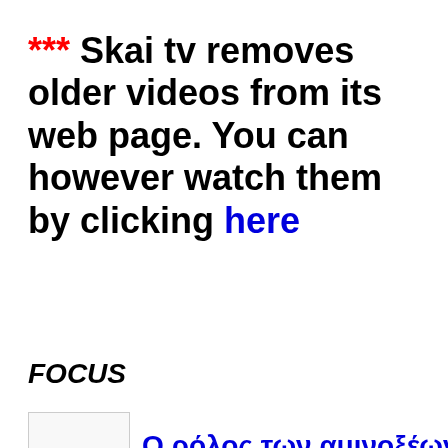*** Skai tv removes older videos from its web page. You can however watch them by clicking here
FOCUS
Ο ρόλος των αμινοξέων